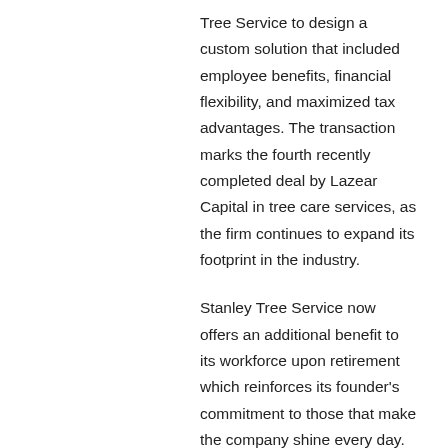Tree Service to design a custom solution that included employee benefits, financial flexibility, and maximized tax advantages. The transaction marks the fourth recently completed deal by Lazear Capital in tree care services, as the firm continues to expand its footprint in the industry.
Stanley Tree Service now offers an additional benefit to its workforce upon retirement which reinforces its founder's commitment to those that make the company shine every day. Because of this, the company hopes to attract more employees with a passion for the green industry and continue to grow within the community.